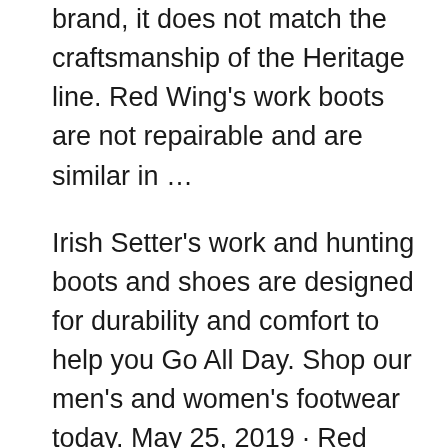brand, it does not match the craftsmanship of the Heritage line. Red Wing's work boots are not repairable and are similar in ...
Irish Setter's work and hunting boots and shoes are designed for durability and comfort to help you Go All Day. Shop our men's and women's footwear today. May 25, 2019 · Red Wing is an American work boot brand name that is making a huge impact on the Work Boot market today. They have manufactured some exceptional heavy duty boots perfect to wear as a safety boot for work or to for the adventurer and outdoorsman.
Jul 16, 2019 · Our selection of impressive men's work boots come in a variety of rugged options